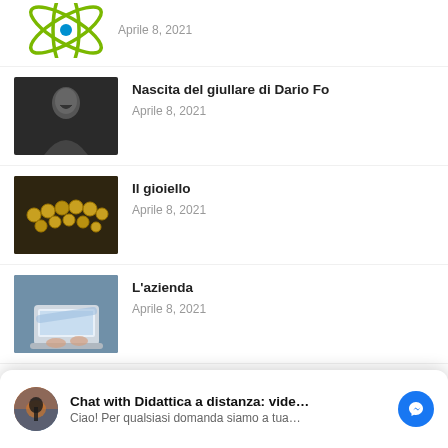[Figure (logo): Green atomic/orbital logo with blue dot]
Aprile 8, 2021
[Figure (photo): Black and white photo of a man smiling, looking up]
Nascita del giullare di Dario Fo
Aprile 8, 2021
[Figure (photo): Photo of golden jewelry/necklace on dark background]
Il gioiello
Aprile 8, 2021
[Figure (photo): Photo of person typing on laptop]
L'azienda
Aprile 8, 2021
[Figure (photo): Partially visible green outdoor/nature photo]
IL VITTORIALE DEGLI ITALIANI
[Figure (screenshot): Facebook Messenger chat widget: Chat with Didattica a distanza: vide... Ciao! Per qualsiasi domanda siamo a tua...]